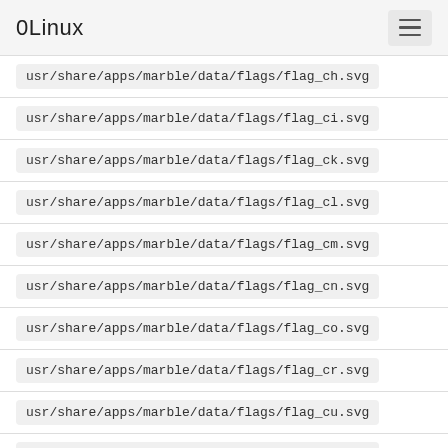0Linux
usr/share/apps/marble/data/flags/flag_ch.svg
usr/share/apps/marble/data/flags/flag_ci.svg
usr/share/apps/marble/data/flags/flag_ck.svg
usr/share/apps/marble/data/flags/flag_cl.svg
usr/share/apps/marble/data/flags/flag_cm.svg
usr/share/apps/marble/data/flags/flag_cn.svg
usr/share/apps/marble/data/flags/flag_co.svg
usr/share/apps/marble/data/flags/flag_cr.svg
usr/share/apps/marble/data/flags/flag_cu.svg
usr/share/apps/marble/data/flags/flag_cv.svg